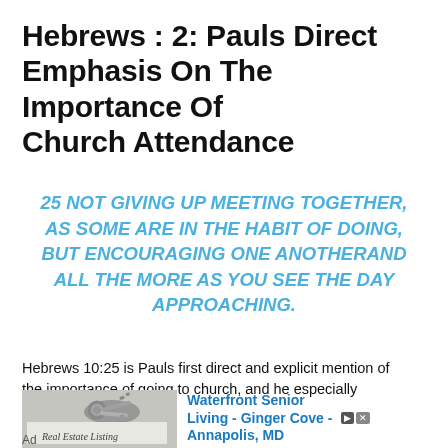Hebrews : 2: Pauls Direct Emphasis On The Importance Of Church Attendance
25 NOT GIVING UP MEETING TOGETHER, AS SOME ARE IN THE HABIT OF DOING, BUT ENCOURAGING ONE ANOTHERAND ALL THE MORE AS YOU SEE THE DAY APPROACHING.
Hebrews 10:25 is Pauls first direct and explicit mention of the importance of going to church, and he especially
[Figure (photo): Real estate listing document with keys on top, advertisement for Waterfront Senior Living - Ginger Cove - Annapolis, MD]